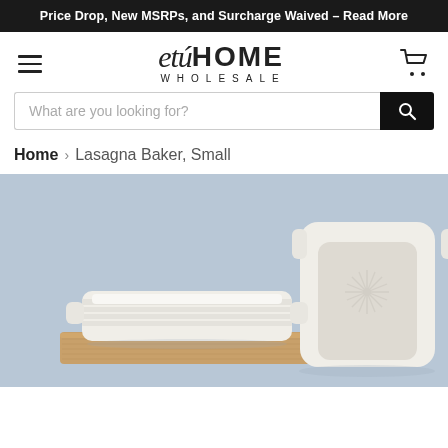Price Drop, New MSRPs, and Surcharge Waived – Read More
[Figure (logo): etu HOME WHOLESALE logo with hamburger menu and cart icon]
What are you looking for?
Home > Lasagna Baker, Small
[Figure (photo): Two white ceramic lasagna bakers on a wooden board against a light blue-gray background. The smaller baker is in the foreground with ribbed sides, and the larger one stands upright behind it showing an embossed sunburst pattern inside.]